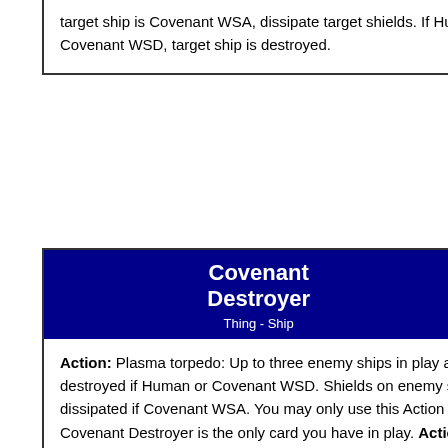target ship is Covenant WSA, dissipate target shields. If Human, or Covenant WSD, target ship is destroyed.
Covenant Destroyer
Thing - Ship
40C
Action: Plasma torpedo: Up to three enemy ships in play are destroyed if Human or Covenant WSD. Shields on enemy ships are dissipated if Covenant WSA. You may only use this Action when Covenant Destroyer is the only card you have in play. Action: Plasma turrets: Choose an enemy ship. If target ship is Covenant WSA, dissipate target shields. If Human, or Covenant WSD, target ship is destroyed.
Human Frigate
35H